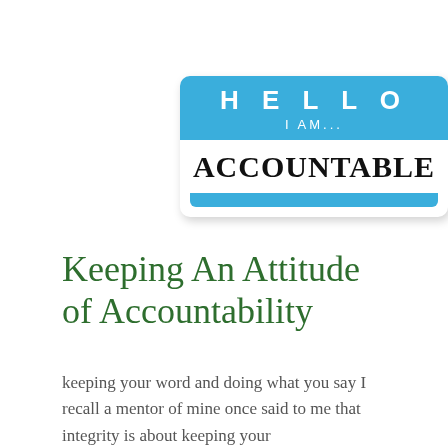[Figure (illustration): A name tag sticker with a blue header section reading 'HELLO I AM...' in white uppercase letters, a white body section with 'ACCOUNTABLE' in large black handwritten-style font, and a blue bar at the bottom. The sticker has rounded corners and a drop shadow.]
Keeping An Attitude of Accountability
keeping your word and doing what you say I recall a mentor of mine once said to me that integrity is about keeping your